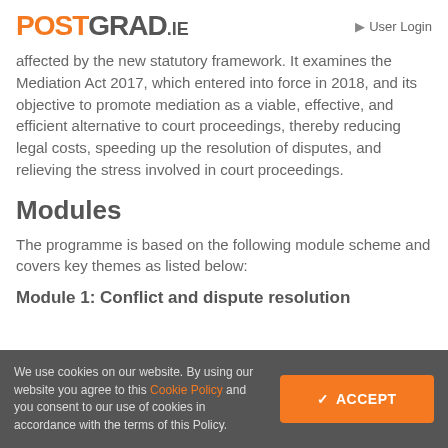POSTGRAD.ie   User Login
affected by the new statutory framework. It examines the Mediation Act 2017, which entered into force in 2018, and its objective to promote mediation as a viable, effective, and efficient alternative to court proceedings, thereby reducing legal costs, speeding up the resolution of disputes, and relieving the stress involved in court proceedings.
Modules
The programme is based on the following module scheme and covers key themes as listed below:
Module 1: Conflict and dispute resolution
We use cookies on our website. By using our website you agree to this Cookie Policy and you consent to our use of cookies in accordance with the terms of this Policy.